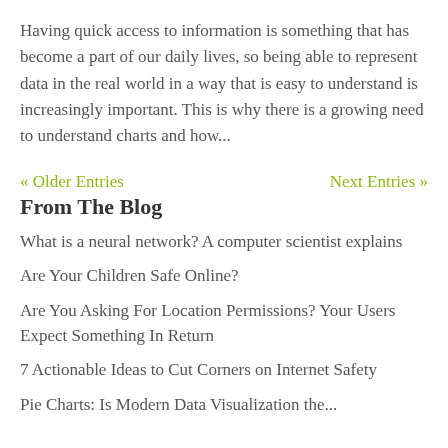Having quick access to information is something that has become a part of our daily lives, so being able to represent data in the real world in a way that is easy to understand is increasingly important. This is why there is a growing need to understand charts and how...
« Older Entries    Next Entries »
From The Blog
What is a neural network? A computer scientist explains
Are Your Children Safe Online?
Are You Asking For Location Permissions? Your Users Expect Something In Return
7 Actionable Ideas to Cut Corners on Internet Safety
Pie Charts: Is Modern Data Visualization the...